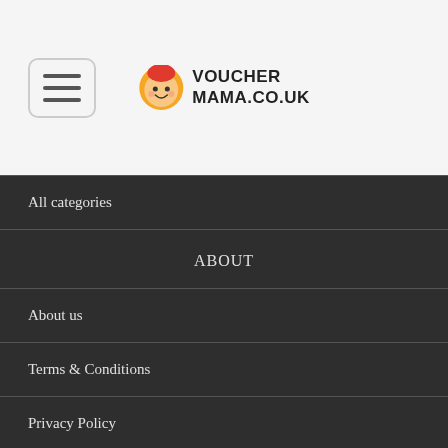[Figure (logo): VoucherMama.co.uk logo with cartoon face icon and bold text]
All categories
ABOUT
About us
Terms & Conditions
Privacy Policy
Blog
HOT STORES
opodo discount code
john greed discount code